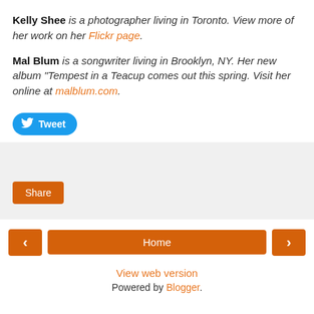Kelly Shee is a photographer living in Toronto. View more of her work on her Flickr page.
Mal Blum is a songwriter living in Brooklyn, NY. Her new album "Tempest in a Teacup comes out this spring. Visit her online at malblum.com.
[Figure (other): Tweet button with Twitter bird icon]
[Figure (other): Share button (Facebook share)]
[Figure (other): Navigation bar with back arrow, Home button, and forward arrow]
View web version
Powered by Blogger.